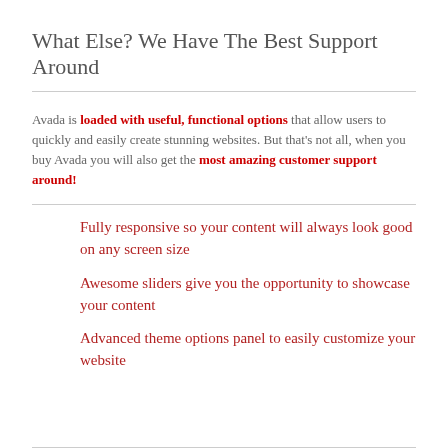What Else? We Have The Best Support Around
Avada is loaded with useful, functional options that allow users to quickly and easily create stunning websites. But that's not all, when you buy Avada you will also get the most amazing customer support around!
Fully responsive so your content will always look good on any screen size
Awesome sliders give you the opportunity to showcase your content
Advanced theme options panel to easily customize your website